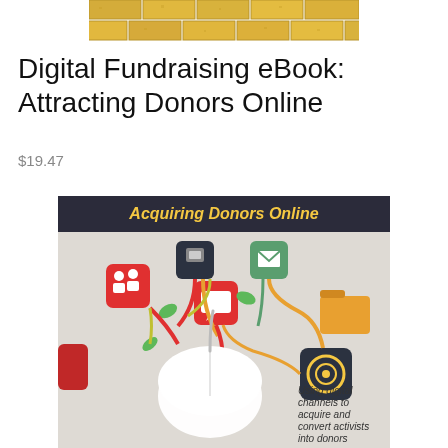[Figure (photo): Yellow brick texture/pattern at the top of the page]
Digital Fundraising eBook: Attracting Donors Online
$19.47
[Figure (photo): Book cover image showing 'Acquiring Donors Online' with a computer mouse and social media icons connected by colorful lines, with text 'Using digital channels to acquire and convert activists into donors']